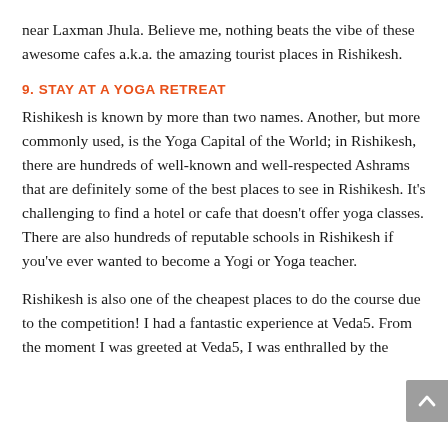near Laxman Jhula. Believe me, nothing beats the vibe of these awesome cafes a.k.a. the amazing tourist places in Rishikesh.
9. STAY AT A YOGA RETREAT
Rishikesh is known by more than two names. Another, but more commonly used, is the Yoga Capital of the World; in Rishikesh, there are hundreds of well-known and well-respected Ashrams that are definitely some of the best places to see in Rishikesh. It's challenging to find a hotel or cafe that doesn't offer yoga classes. There are also hundreds of reputable schools in Rishikesh if you've ever wanted to become a Yogi or Yoga teacher.
Rishikesh is also one of the cheapest places to do the course due to the competition! I had a fantastic experience at Veda5. From the moment I was greeted at Veda5, I was enthralled by the